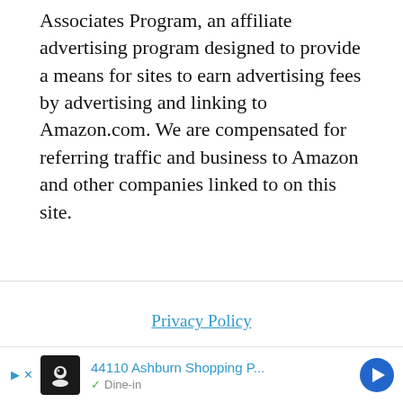Associates Program, an affiliate advertising program designed to provide a means for sites to earn advertising fees by advertising and linking to Amazon.com. We are compensated for referring traffic and business to Amazon and other companies linked to on this site.
Privacy Policy
© 2022 Copyright Revolutionary Program Design
AN ELITE CAFEMEDIA LIFESTYLE PUBLISHER
[Figure (other): Advertisement bar showing a restaurant listing: 44110 Ashburn Shopping P... with Dine-in option, small restaurant icon, and navigation arrow]